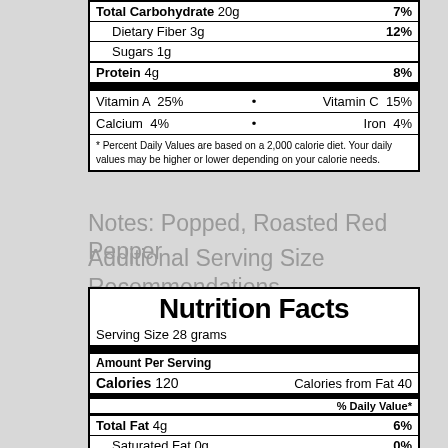| Total Carbohydrate 20g | 7% |
| Dietary Fiber 3g | 12% |
| Sugars 1g |  |
| Protein 4g | 8% |
| Vitamin A  25% | Vitamin C  15% |
| Calcium  4% | Iron  4% |
* Percent Daily Values are based on a 2,000 calorie diet. Your daily values may be higher or lower depending on your calorie needs.
Notes: Popped, Roasted Red Pepper
Additional Serving Size Recommendations
| Nutrition Facts |  |
| Serving Size 28 grams |  |
| Amount Per Serving |  |
| Calories 120 | Calories from Fat 40 |
| % Daily Value* |  |
| Total Fat 4g | 6% |
| Saturated Fat 0g | 0% |
| Trans Fat 0g |  |
| Cholesterol 0mg | 0% |
| Sodium 140mg | 6% |